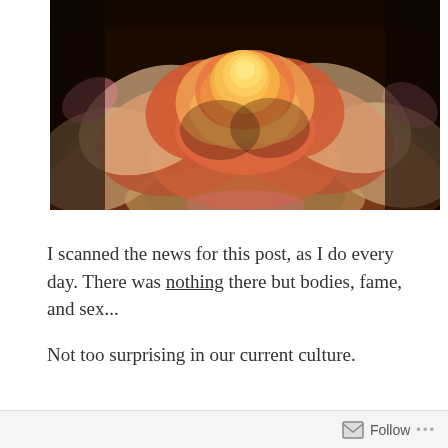[Figure (photo): Close-up photograph of a yellow-orange rose with pink-tipped petals against a dark background]
I scanned the news for this post, as I do every day. There was nothing there but bodies, fame, and sex...
Not too surprising in our current culture.
Follow ...